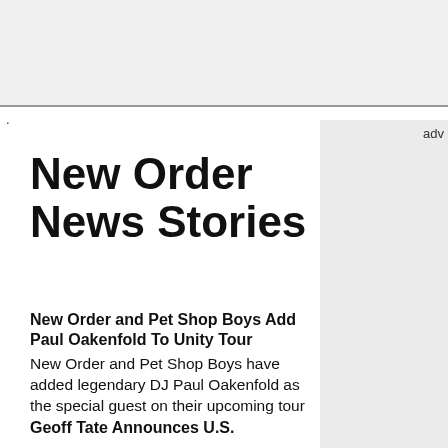.
adv
New Order News Stories
New Order and Pet Shop Boys Add Paul Oakenfold To Unity Tour
New Order and Pet Shop Boys have added legendary DJ Paul Oakenfold as the special guest on their upcoming tour
Geoff Tate Announces U.S.